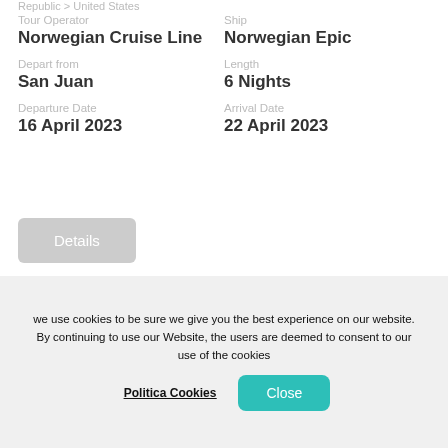Republic > United States
Tour Operator
Norwegian Cruise Line
Ship
Norwegian Epic
Depart from
San Juan
Length
6 Nights
Departure Date
16 April 2023
Arrival Date
22 April 2023
[Figure (logo): Norwegian Cruise Line logo with ship icon]
[Figure (photo): Greyscale photo of Norwegian cruise ship]
we use cookies to be sure we give you the best experience on our website. By continuing to use our Website, the users are deemed to consent to our use of the cookies
Politica Cookies
Close